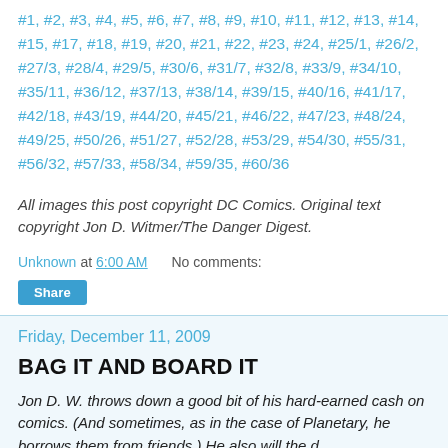#1, #2, #3, #4, #5, #6, #7, #8, #9, #10, #11, #12, #13, #14, #15, #17, #18, #19, #20, #21, #22, #23, #24, #25/1, #26/2, #27/3, #28/4, #29/5, #30/6, #31/7, #32/8, #33/9, #34/10, #35/11, #36/12, #37/13, #38/14, #39/15, #40/16, #41/17, #42/18, #43/19, #44/20, #45/21, #46/22, #47/23, #48/24, #49/25, #50/26, #51/27, #52/28, #53/29, #54/30, #55/31, #56/32, #57/33, #58/34, #59/35, #60/36
All images this post copyright DC Comics. Original text copyright Jon D. Witmer/The Danger Digest.
Unknown at 6:00 AM    No comments:
Share
Friday, December 11, 2009
BAG IT AND BOARD IT
Jon D. W. throws down a good bit of his hard-earned cash on comics. (And sometimes, as in the case of Planetary, he borrows them from friends.) He also will the d...